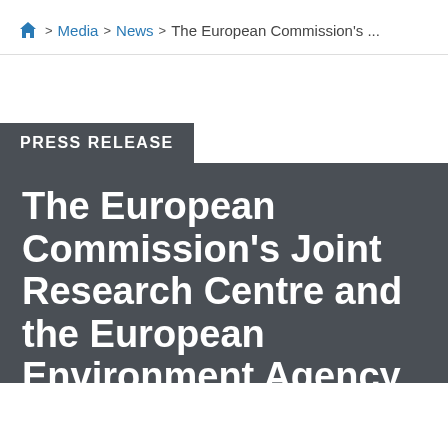Home > Media > News > The European Commission's ...
PRESS RELEASE
The European Commission's Joint Research Centre and the European Environment Agency join forces for